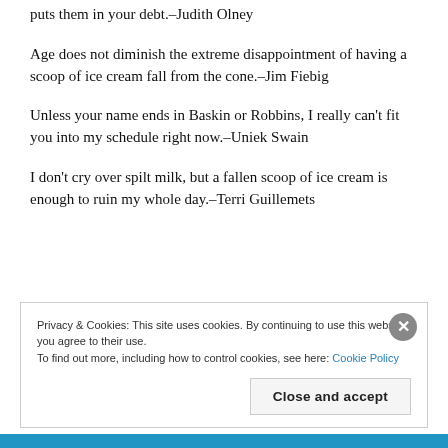puts them in your debt.–Judith Olney
Age does not diminish the extreme disappointment of having a scoop of ice cream fall from the cone.–Jim Fiebig
Unless your name ends in Baskin or Robbins, I really can't fit you into my schedule right now.–Uniek Swain
I don't cry over spilt milk, but a fallen scoop of ice cream is enough to ruin my whole day.–Terri Guillemets
Privacy & Cookies: This site uses cookies. By continuing to use this website, you agree to their use. To find out more, including how to control cookies, see here: Cookie Policy
Close and accept